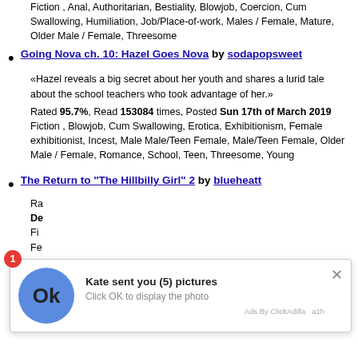Fiction , Anal, Authoritarian, Bestiality, Blowjob, Coercion, Cum Swallowing, Humiliation, Job/Place-of-work, Males / Female, Mature, Older Male / Female, Threesome
Going Nova ch. 10: Hazel Goes Nova by sodapopsweet
«Hazel reveals a big secret about her youth and shares a lurid tale about the school teachers who took advantage of her.»
Rated 95.7%, Read 153084 times, Posted Sun 17th of March 2019 Fiction , Blowjob, Cum Swallowing, Erotica, Exhibitionism, Female exhibitionist, Incest, Male Male/Teen Female, Male/Teen Female, Older Male / Female, Romance, School, Teen, Threesome, Young
The Return to "The Hillbilly Girl" 2 by blueheatt
[Figure (screenshot): Ad overlay: notification badge showing '1', blue circle with 'Ok' text, message 'Kate sent you (5) pictures', subtext 'Click OK to display the photo', close button X, footer 'Ads By ClickAdilla a1h']
Such A Good Neighbor by Johnb163